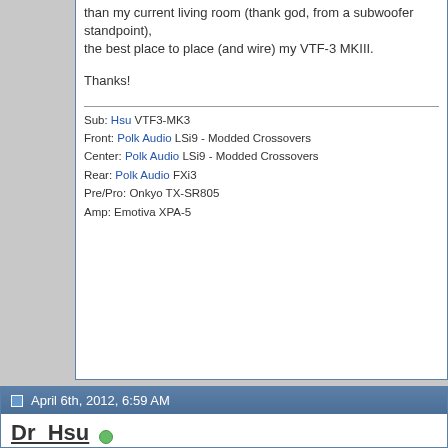than my current living room (thank god, from a subwoofer standpoint), the best place to place (and wire) my VTF-3 MKIII.
Thanks!
Sub: Hsu VTF3-MK3
Front: Polk Audio LSi9 - Modded Crossovers
Center: Polk Audio LSi9 - Modded Crossovers
Rear: Polk Audio FXi3
Pre/Pro: Onkyo TX-SR805
Amp: Emotiva XPA-5
April 6th, 2012, 6:59 AM
Dr_Hsu
Administrator
Quote:
Originally Posted by mystik610
[Figure (engineering-diagram): Partial view of a room acoustic/speaker placement engineering diagram showing speaker symbols, room layout lines including solid and dashed lines, and component labels RL Spkr.]